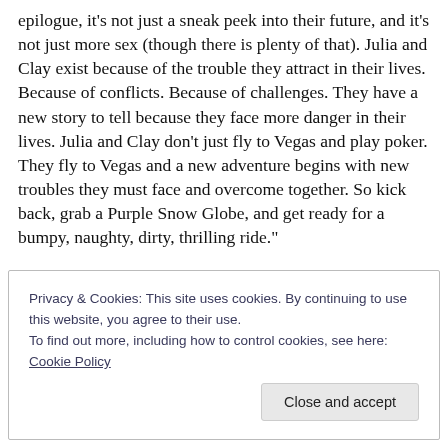epilogue, it's not just a sneak peek into their future, and it's not just more sex (though there is plenty of that). Julia and Clay exist because of the trouble they attract in their lives. Because of conflicts. Because of challenges. They have a new story to tell because they face more danger in their lives. Julia and Clay don't just fly to Vegas and play poker. They fly to Vegas and a new adventure begins with new troubles they must face and overcome together. So kick back, grab a Purple Snow Globe, and get ready for a bumpy, naughty, dirty, thrilling ride."
Privacy & Cookies: This site uses cookies. By continuing to use this website, you agree to their use.
To find out more, including how to control cookies, see here: Cookie Policy
Close and accept